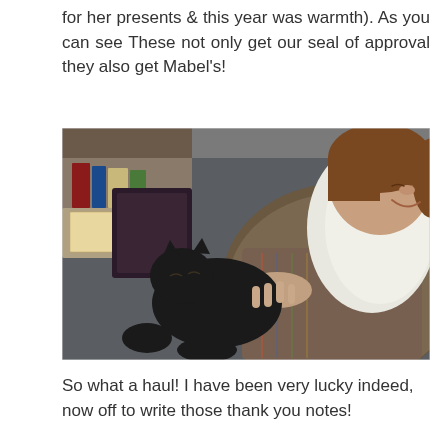for her presents & this year was warmth). As you can see These not only get our seal of approval they also get Mabel's!
[Figure (photo): A woman wearing a colorful knit sweater and white fleece jacket sits on a grey sofa, smiling down at a black cat that is resting on her lap. She is petting the cat. In the background there is a bookshelf with various items.]
So what a haul! I have been very lucky indeed, now off to write those thank you notes!